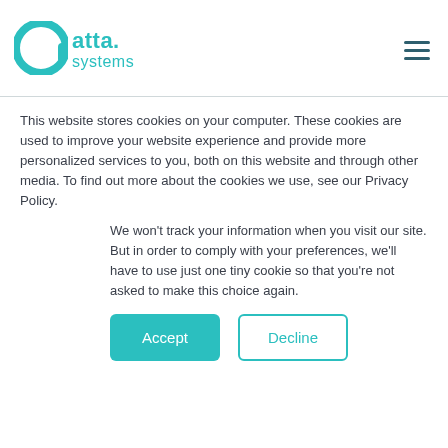[Figure (logo): atta.systems logo with teal circular 'a' icon and teal text 'atta. systems']
[Figure (other): Hamburger menu icon (three horizontal lines) in dark teal]
This website stores cookies on your computer. These cookies are used to improve your website experience and provide more personalized services to you, both on this website and through other media. To find out more about the cookies we use, see our Privacy Policy.
We won't track your information when you visit our site. But in order to comply with your preferences, we'll have to use just one tiny cookie so that you're not asked to make this choice again.
Accept
Decline